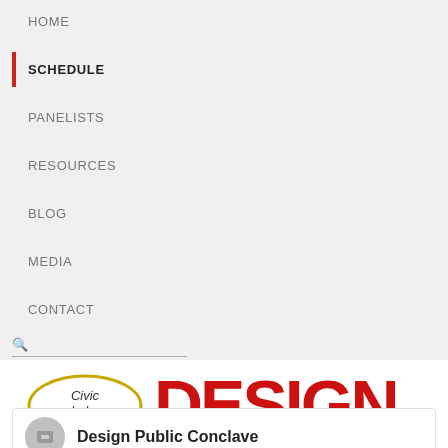HOME
SCHEDULE
PANELISTS
RESOURCES
BLOG
MEDIA
CONTACT
[Figure (logo): CivicLabs logo (oval with text) followed by large red DESIGN text]
Design Public Conclave